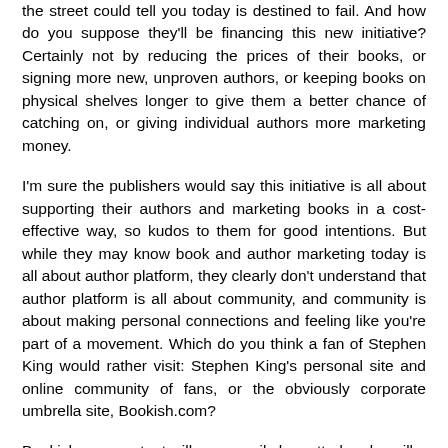the street could tell you today is destined to fail. And how do you suppose they'll be financing this new initiative? Certainly not by reducing the prices of their books, or signing more new, unproven authors, or keeping books on physical shelves longer to give them a better chance of catching on, or giving individual authors more marketing money.
I'm sure the publishers would say this initiative is all about supporting their authors and marketing books in a cost-effective way, so kudos to them for good intentions. But while they may know book and author marketing today is all about author platform, they clearly don't understand that author platform is all about community, and community is about making personal connections and feeling like you're part of a movement. Which do you think a fan of Stephen King would rather visit: Stephen King's personal site and online community of fans, or the obviously corporate umbrella site, Bookish.com?
Bookish.com content will necessarily be vetted and vanilla, so as not to hurt the corporate images and reputations of its backers and to avoid offending any site visitors. Anyone who wants the raw, unfiltered version of musings from their